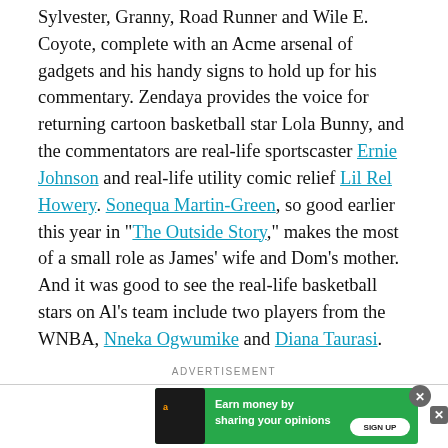Sylvester, Granny, Road Runner and Wile E. Coyote, complete with an Acme arsenal of gadgets and his handy signs to hold up for his commentary. Zendaya provides the voice for returning cartoon basketball star Lola Bunny, and the commentators are real-life sportscaster Ernie Johnson and real-life utility comic relief Lil Rel Howery. Sonequa Martin-Green, so good earlier this year in "The Outside Story," makes the most of a small role as James' wife and Dom's mother. And it was good to see the real-life basketball stars on Al's team include two players from the WNBA, Nneka Ogwumike and Diana Taurasi.
ADVERTISEMENT
[Figure (other): Advertisement banner: green background with text 'Earn money by sharing your opinions' and a SIGN UP button, with Amazon and MiloRecompensas logos. Close buttons visible.]